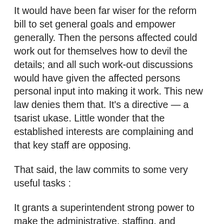It would have been far wiser for the reform bill to set general goals and empower generally. Then the persons affected could work out for themselves how to devil the details; and all such work-out discussions would have given the affected persons personal input into making it work. This new law denies them that. It's a directive — a tsarist ukase. Little wonder that the established interests are complaining and that key staff are opposing.
That said, the law commits to some very useful tasks :
It grants a superintendent strong power to make the administrative, staffing, and curriculum changes that he or she sees fit, the objective being to improve the performance